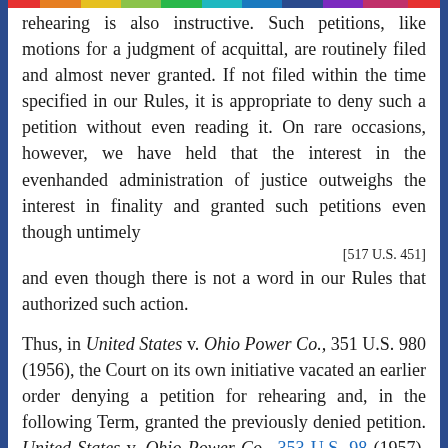rehearing is also instructive. Such petitions, like motions for a judgment of acquittal, are routinely filed and almost never granted. If not filed within the time specified in our Rules, it is appropriate to deny such a petition without even reading it. On rare occasions, however, we have held that the interest in the evenhanded administration of justice outweighs the interest in finality and granted such petitions even though untimely
[517 U.S. 451]
and even though there is not a word in our Rules that authorized such action.
Thus, in United States v. Ohio Power Co., 351 U.S. 980 (1956), the Court on its own initiative vacated an earlier order denying a petition for rehearing and, in the following Term, granted the previously denied petition. United States v. Ohio Power Co., 353 U.S. 98 (1957). While Justice Harlan dissented from that disposition, he did not disagree with the proposition that "the Court's